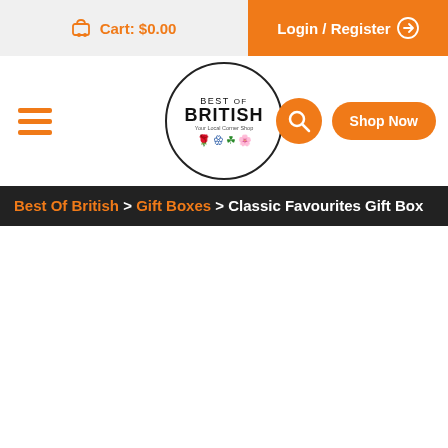Cart: $0.00 | Login / Register
[Figure (logo): Best of British logo — circular badge with text BEST OF BRITISH and floral icons for England, Scotland, Wales, Ireland]
Best Of British > Gift Boxes > Classic Favourites Gift Box